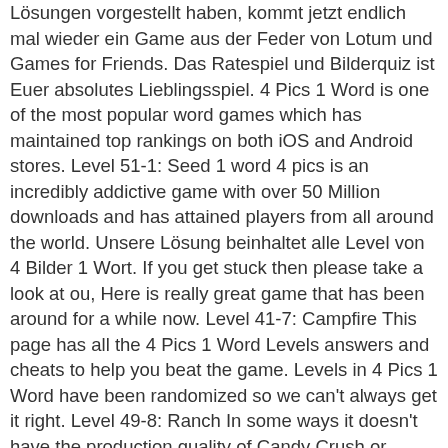Lösungen vorgestellt haben, kommt jetzt endlich mal wieder ein Game aus der Feder von Lotum und Games for Friends. Das Ratespiel und Bilderquiz ist Euer absolutes Lieblingsspiel. 4 Pics 1 Word is one of the most popular word games which has maintained top rankings on both iOS and Android stores. Level 51-1: Seed 1 word 4 pics is an incredibly addictive game with over 50 Million downloads and has attained players from all around the world. Unsere Lösung beinhaltet alle Level von 4 Bilder 1 Wort. If you get stuck then please take a look at ou, Here is really great game that has been around for a while now. Level 41-7: Campfire This page has all the 4 Pics 1 Word Levels answers and cheats to help you beat the game. Levels in 4 Pics 1 Word have been randomized so we can't always get it right. Level 49-8: Ranch In some ways it doesn't have the production quality of Candy Crush or Gardenscapes, but the tiles they use in game are really quite detailed, but still easy to see while you play. There are a total of 75 comments in our general 4 Pics 1 Word chat. Hallo Leute. We have walkthrough videos below so check them out if you are int. This is a really fun puzzle/strategy game! At one point it was the most feared prison in the USA. Level 54-4: Scent Level 54-1: Clay 4 Pics 1 Word ist die englischsprachige Version Eures Lieblingsspiels 4 Bilder 1 Wort. That may be the reason that it is now being called by different names such as 1 word 4 pics, 4 pics 1 word, four pics